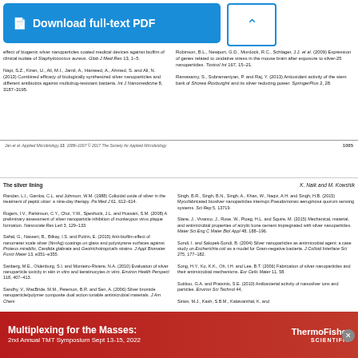[Figure (other): Download full-text PDF button (blue button with document icon)]
[Figure (other): Cite/download chevron button (blue outline box with down arrow)]
effect of biogenic silver nanoparticles coated medical devices against biofilm of clinical isolate of Staphylococcus aureus. Glob J Med Res 13, 1–5.
Napi, S.Z., Kiran, U., Ali, M.I., Jamil, A., Hameed, A., Ahmed, S. and Ali, N. (2013) Combined efficacy of biologically synthesized silver nanoparticles and different antibiotics against multidrug-resistant bacteria. Int J Nanomedicine 8, 3187–3195.
Robinson, B.L., Newport, G.D., Murdock, R.C., Schlager, J.J. et al. (2009) Expression of genes related to oxidative stress in the mouse brain after exposure to silver-25 nanoparticles. Toxicol Int 167, 15–21.
Ramasamy, S., Subramaniyan, P. and Raj, Y. (2013) Antioxidant activity of the stem bark of Shorea Roxburghii and its silver reducing power. SpringerPlus 2, 28.
Jan et al. Applied Microbiology 13, 1088–1097 © 2017 The Society for Applied Microbiology                                                              1085
The silver lining
K. Naik and M. Kowshik
Randan, L.I., Gamba, C.L. and Johnson, W.M. (1988) Colloidal oxide of silver in the treatment of peptic ulcer: a nine-day therapy. Pa Med J 61, 612–614.
Rogers, I.V., Parkinson, C.Y., Choi, Y.W., Speshock, J.L. and Hussain, S.M. (2008) A preliminary assessment of silver nanoparticle inhibition of monkeypox virus plaque formation. Nanoscale Res Lett 3, 129–133.
Sahal, G., Nasseri, B., Bilkay, I.S. and Polzin, E. (2015) Anti-biofilm effect of nanometer scale silver (NnrAg) coatings on glass and polystyrene surfaces against Proteus mirabilis, Candida glabrata and Geotrichotropicalis strains. J Appl Biomater Funct Mater 13, e351–e355.
Sanberg, M.E., Oldenburg, S.I. and Monteiro-Riviere, N.A. (2010) Evaluation of silver nanoparticle toxicity in skin in vitro and keratinocytes in vitro. Environ Health Perspect 118, 407–413.
Sandhy, V., MacBride, M.M., Peterson, B.R. and Sen, A. (2006) Silver bromide nanoparticle/polymer composite dual action tunable antimicrobial materials. J Am Chem
Singh, B.R., Singh, B.N., Singh, A., Khan, W., Naqvi, A.H. and Singh, H.B. (2015) Mycofabricated biosilver nanoparticles interrupt Pseudomonas aeruginosa quorum sensing systems. Sci Rep 5, 13719.
Slane, J., Vivanco, J., Rose, W., Ploeg, H.L. and Squire, M. (2015) Mechanical, material, and antimicrobial properties of acrylic bone cement impregnated with silver nanoparticles. Mater Sci Eng C Mater Biol Appl 48, 188–196.
Sondi, I. and Salopek-Sondi, B. (2004) Silver nanoparticles as antimicrobial agent: a case study on Escherichia coli as a model for Gram-negative bacteria. J Colloid Interface Sci 275, 177–182.
Song, H.Y., Ko, K.K., Oh, I.H. and Lee, B.T. (2006) Fabrication of silver nanoparticles and their antimicrobial mechanisms. Eur Cells Mater 11, 58.
Sotitiou, G.A. and Pratsinis, S.E. (2010) Antibacterial activity of nanosilver ions and particles. Environ Sci Technol 44,
Siram, M.J., Kash, S.B.M., Kalaivanthal, K. and
[Figure (infographic): Advertisement banner: red background, text 'Multiplexing for the Masses: 2nd Annual TMT Symposium Sept 13-15, 2022' on left, ThermoFisher Scientific logo on right]
Advertisement